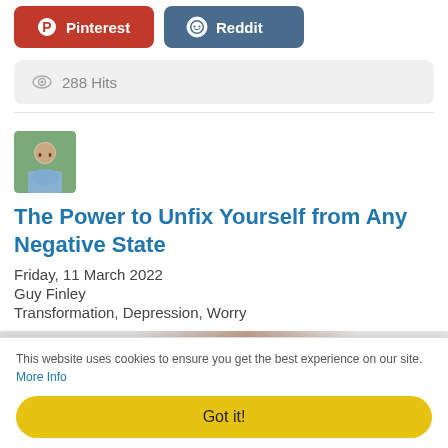[Figure (other): Pinterest and Reddit social share buttons]
288 Hits
The Power to Unfix Yourself from Any Negative State
Friday, 11 March 2022
Guy Finley
Transformation, Depression, Worry
[Figure (photo): Partial article image strip showing blurred faces]
This website uses cookies to ensure you get the best experience on our site. More Info
Got it!